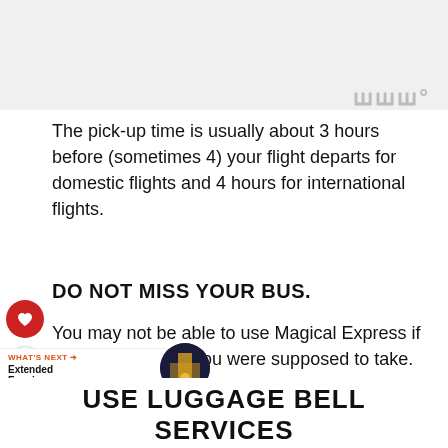[Figure (photo): Gray placeholder image area at top of page]
The pick-up time is usually about 3 hours before (sometimes 4) your flight departs for domestic flights and 4 hours for international flights.
DO NOT MISS YOUR BUS.
You may not be able to use Magical Express if you miss the one you were supposed to take.
WHAT'S NEXT → Extended Evening...
USE LUGGAGE BELL SERVICES